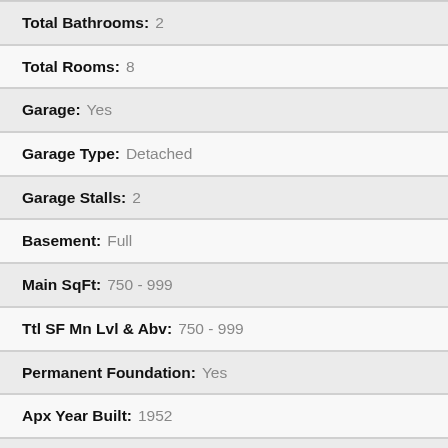| Total Bathrooms: | 2 |
| Total Rooms: | 8 |
| Garage: | Yes |
| Garage Type: | Detached |
| Garage Stalls: | 2 |
| Basement: | Full |
| Main SqFt: | 750 - 999 |
| Ttl SF Mn Lvl & Abv: | 750 - 999 |
| Permanent Foundation: | Yes |
| Apx Year Built: | 1952 |
| Apx Basement SqFt: | 860 |
| Apx 1st Level SqFt: | 860 |
| Apx Total SqFt: | 1720 |
| Apx Lot Dimensions: | 50 x 140 |